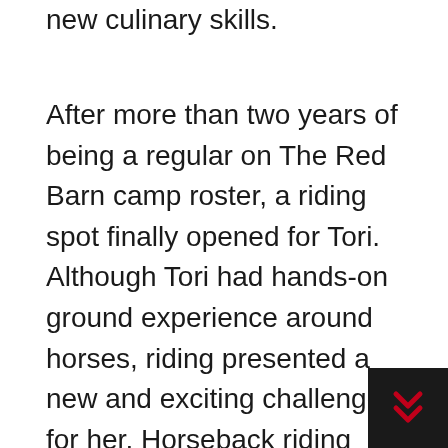new culinary skills.
After more than two years of being a regular on The Red Barn camp roster, a riding spot finally opened for Tori. Although Tori had hands-on ground experience around horses, riding presented a new and exciting challenge for her. Horseback riding requires a very precise and intimate communication between horse and rider. At first Tori took that for granted and assumed that riding was simply a fun activity that would help her with physical exercise. It didn't take long for Tori to realize it was much more involved. She realized she had to fully follow her instructor's directions and be both firm and decisive in her communication with the horse while also being